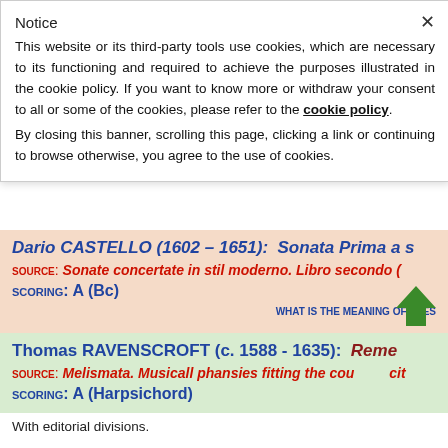Notice
This website or its third-party tools use cookies, which are necessary to its functioning and required to achieve the purposes illustrated in the cookie policy. If you want to know more or withdraw your consent to all or some of the cookies, please refer to the cookie policy.
By closing this banner, scrolling this page, clicking a link or continuing to browse otherwise, you agree to the use of cookies.
Dario CASTELLO (1602 – 1651): Sonata Prima a s
SOURCE: Sonate concertate in stil moderno. Libro secondo (
SCORING: A (Bc)
WHAT IS THE MEANING OF THES
Thomas RAVENSCROFT (c. 1588 - 1635): Reme
SOURCE: Melismata. Musicall phansies fitting the cou cit
SCORING: A (Harpsichord)
With editorial divisions.